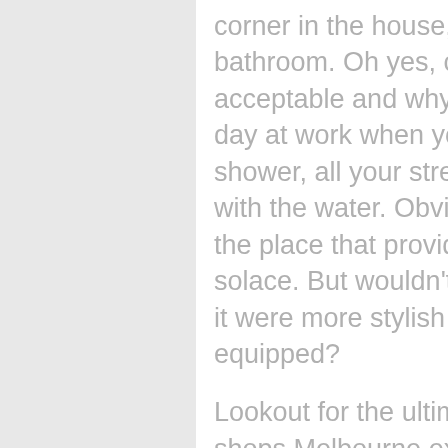corner in the house, they answer bathroom. Oh yes, completely acceptable and why not? After a long day at work when you take a hot shower, all your stress flows away with the water. Obviously, bathroom is the place that provides you with such solace. But wouldn't you love it more if it were more stylish and a little more equipped?
Lookout for the ultimate bathroom shops Melbourne experts now! A large options for your